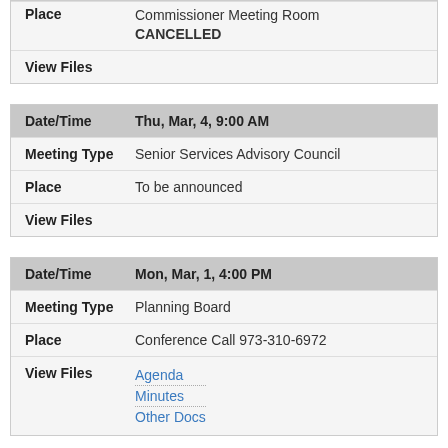| Field | Value |
| --- | --- |
| Place | Commissioner Meeting Room
CANCELLED |
| View Files |  |
| Field | Value |
| --- | --- |
| Date/Time | Thu, Mar, 4, 9:00 AM |
| Meeting Type | Senior Services Advisory Council |
| Place | To be announced |
| View Files |  |
| Field | Value |
| --- | --- |
| Date/Time | Mon, Mar, 1, 4:00 PM |
| Meeting Type | Planning Board |
| Place | Conference Call 973-310-6972 |
| View Files | Agenda
Minutes
Other Docs |